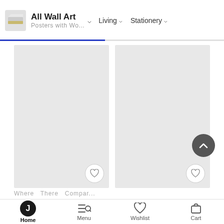All Wall Art | Posters with Wo... | Living | Stationery
[Figure (screenshot): Two loading/placeholder product cards in a two-column grid layout with gray backgrounds and heart/wishlist buttons. A scroll-to-top button is visible on the right side.]
Where  There  Compar...
Home | Menu | Wishlist | Cart